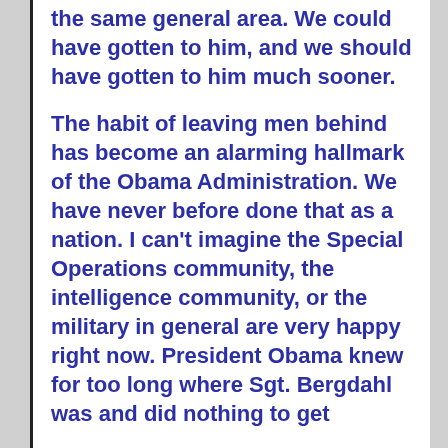the same general area.  We could have gotten to him, and we should have gotten to him much sooner.
The habit of leaving men behind has become an alarming hallmark of the Obama Administration.  We have never before done that as a nation.  I can't imagine the Special Operations community, the intelligence community, or the military in general are very happy right now.  President Obama knew for too long where Sgt. Bergdahl was and did nothing to get